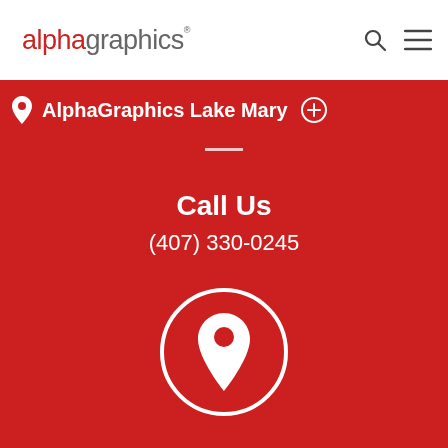alphagraphics
AlphaGraphics Lake Mary
Call Us
(407) 330-0245
[Figure (illustration): Map location pin icon inside a circle, white on red background]